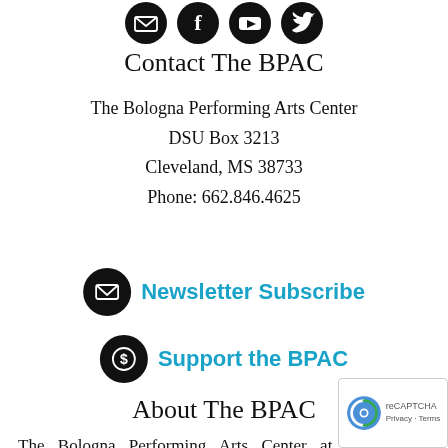[Figure (illustration): Four circular social media icon buttons in a row at the top of the page (email/envelope, Facebook, YouTube, Twitter icons, all dark/black circles)]
Contact The BPAC
The Bologna Performing Arts Center
DSU Box 3213
Cleveland, MS 38733
Phone: 662.846.4625
Newsletter Subscribe
Support the BPAC
About The BPAC
The Bologna Performing Arts Center at Delta State University was built in 1994 through state funding fr... Mississippi legislature. The state-of-the-art facility w... to offer a rich tapestry of cultural and educational programs